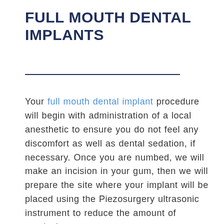FULL MOUTH DENTAL IMPLANTS
Your full mouth dental implant procedure will begin with administration of a local anesthetic to ensure you do not feel any discomfort as well as dental sedation, if necessary. Once you are numbed, we will make an incision in your gum, then we will prepare the site where your implant will be placed using the Piezosurgery ultrasonic instrument to reduce the amount of surgical